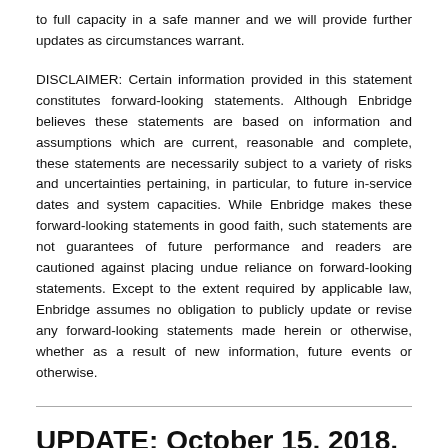to full capacity in a safe manner and we will provide further updates as circumstances warrant.
DISCLAIMER: Certain information provided in this statement constitutes forward-looking statements. Although Enbridge believes these statements are based on information and assumptions which are current, reasonable and complete, these statements are necessarily subject to a variety of risks and uncertainties pertaining, in particular, to future in-service dates and system capacities. While Enbridge makes these forward-looking statements in good faith, such statements are not guarantees of future performance and readers are cautioned against placing undue reliance on forward-looking statements. Except to the extent required by applicable law, Enbridge assumes no obligation to publicly update or revise any forward-looking statements made herein or otherwise, whether as a result of new information, future events or otherwise.
UPDATE: October 15, 2018, 3:40 p.m. PST
Enbridge has completed earth sampling at residences